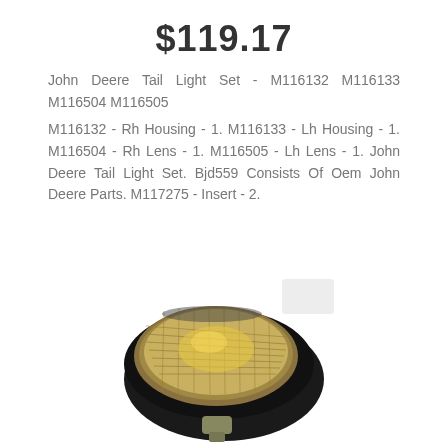$119.17
John Deere Tail Light Set - M116132 M116133 M116504 M116505
M116132 - Rh Housing - 1. M116133 - Lh Housing - 1. M116504 - Rh Lens - 1. M116505 - Lh Lens - 1. John Deere Tail Light Set. Bjd559 Consists Of Oem John Deere Parts. M117275 - Insert - 2.
[Figure (photo): Close-up photo of a John Deere tail light assembly showing a round lens with ribbed/faceted clear cover in a dark housing, viewed at an angle from above.]